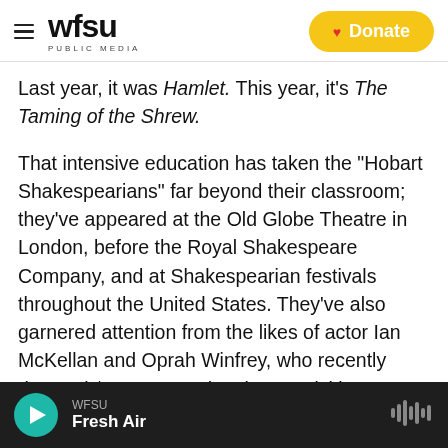WFSU PUBLIC MEDIA | Donate
Last year, it was Hamlet. This year, it's The Taming of the Shrew.
That intensive education has taken the "Hobart Shakespearians" far beyond their classroom; they've appeared at the Old Globe Theatre in London, before the Royal Shakespeare Company, and at Shakespearian festivals throughout the United States. They've also garnered attention from the likes of actor Ian McKellan and Oprah Winfrey, who recently donated $100,000 to the class' activities.
WFSU Fresh Air